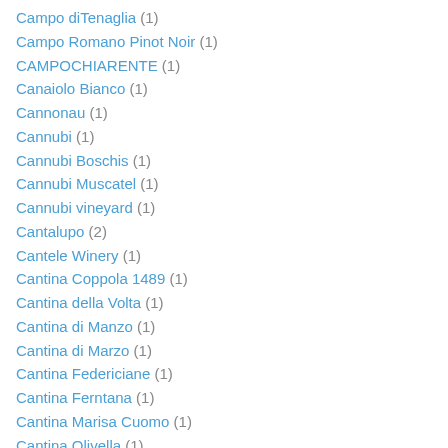Campo diTenaglia (1)
Campo Romano Pinot Noir (1)
CAMPOCHIARENTE (1)
Canaiolo Bianco (1)
Cannonau (1)
Cannubi (1)
Cannubi Boschis (1)
Cannubi Muscatel (1)
Cannubi vineyard (1)
Cantalupo (2)
Cantele Winery (1)
Cantina Coppola 1489 (1)
Cantina della Volta (1)
Cantina di Manzo (1)
Cantina di Marzo (1)
Cantina Federiciane (1)
Cantina Ferntana (1)
Cantina Marisa Cuomo (1)
Cantina Olivella (1)
Cantina Reo (1)